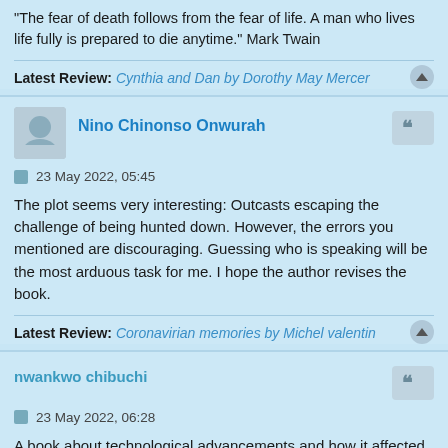"The fear of death follows from the fear of life. A man who lives life fully is prepared to die anytime." Mark Twain
Latest Review: Cynthia and Dan by Dorothy May Mercer
Nino Chinonso Onwurah
23 May 2022, 05:45
The plot seems very interesting: Outcasts escaping the challenge of being hunted down. However, the errors you mentioned are discouraging. Guessing who is speaking will be the most arduous task for me. I hope the author revises the book.
Latest Review: Coronavirian memories by Michel valentin
nwankwo chibuchi
23 May 2022, 06:28
A book about technological advancements and how it affected society will be such an insightful read. I didn't witness the first